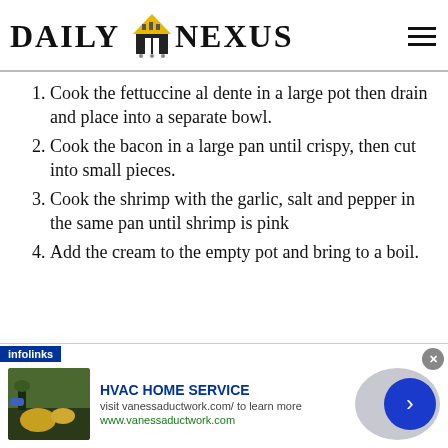DAILY NEXUS
Cook the fettuccine al dente in a large pot then drain and place into a separate bowl.
Cook the bacon in a large pan until crispy, then cut into small pieces.
Cook the shrimp with the garlic, salt and pepper in the same pan until shrimp is pink
Add the cream to the empty pot and bring to a boil.
[Figure (other): Infolinks advertisement banner for HVAC HOME SERVICE — visit vanessaductwork.com/ to learn more. Shows a gardening/outdoor photo on the left, ad text in the center, and a blue arrow button on the right.]